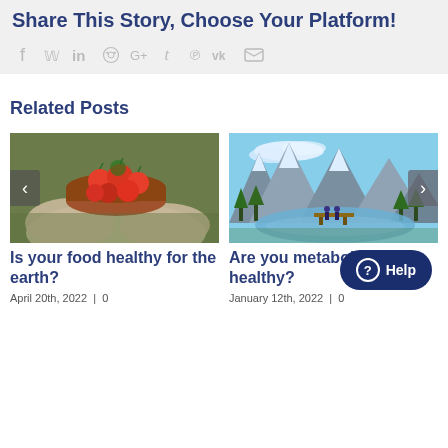Share This Story, Choose Your Platform!
[Figure (infographic): Social media sharing icons: Facebook, Twitter, LinkedIn, Reddit, Google+, Tumblr, Pinterest, VK, Email]
Related Posts
[Figure (photo): Hands in gloves holding a clay bowl of red cherry tomatoes on green grass background]
Is your food healthy for the earth?
April 20th, 2022  |  0
[Figure (photo): Mountain landscape with a lake, evergreen trees, and two people standing on a wooden dock]
Are you metabolically healthy?
January 12th, 2022  |  0